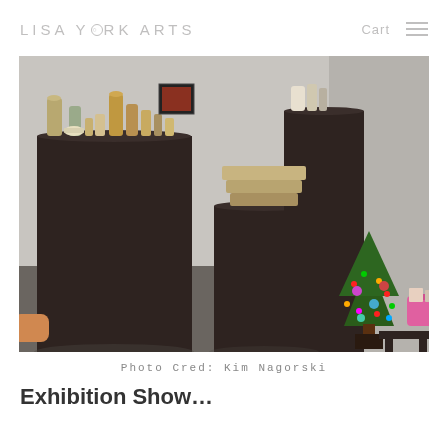LISA YORK ARTS   Cart ☰
[Figure (photo): Art gallery or studio display showing pottery and ceramic pieces arranged on dark pedestals of varying heights, with a small decorated Christmas tree with colorful lights in the right corner, and a pink basket with items on the right side.]
Photo Cred: Kim Nagorski
Exhibition Show...